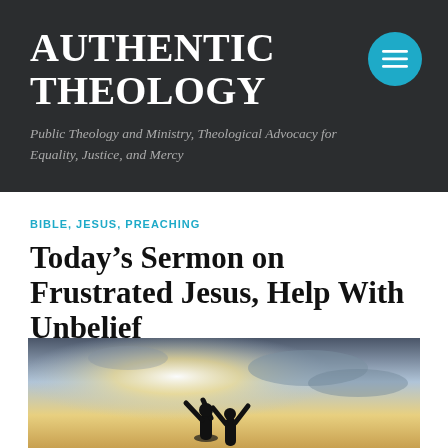AUTHENTIC THEOLOGY
Public Theology and Ministry, Theological Advocacy for Equality, Justice, and Mercy
BIBLE, JESUS, PREACHING
Today’s Sermon on Frustrated Jesus, Help With Unbelief
[Figure (photo): Silhouette of people with arms raised against a dramatic bright sky with clouds]